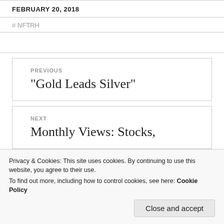FEBRUARY 20, 2018
# NFTRH
PREVIOUS
“Gold Leads Silver”
NEXT
Monthly Views: Stocks,
Privacy & Cookies: This site uses cookies. By continuing to use this website, you agree to their use.
To find out more, including how to control cookies, see here: Cookie Policy
Close and accept